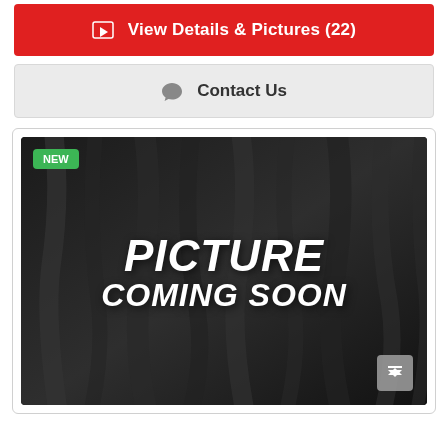View Details & Pictures (22)
Contact Us
[Figure (photo): Placeholder image with dark draped fabric background and white bold italic text reading 'PICTURE COMING SOON', with a green 'NEW' badge in the top-left corner]